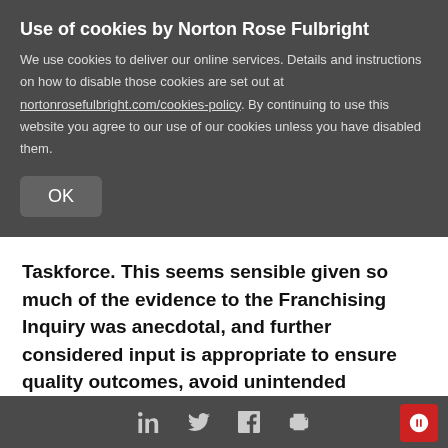Use of cookies by Norton Rose Fulbright
We use cookies to deliver our online services. Details and instructions on how to disable those cookies are set out at nortonrosefulbright.com/cookies-policy. By continuing to use this website you agree to our use of our cookies unless you have disabled them.
OK
Taskforce. This seems sensible given so much of the evidence to the Franchising Inquiry was anecdotal, and further considered input is appropriate to ensure quality outcomes, avoid unintended consequences and ensure compliance costs are not excessive.
Many of the recommendations are not surprising given the gravity of the issues ventilated during the inquiry process. Some of the committee's policy
LinkedIn Twitter Facebook Print